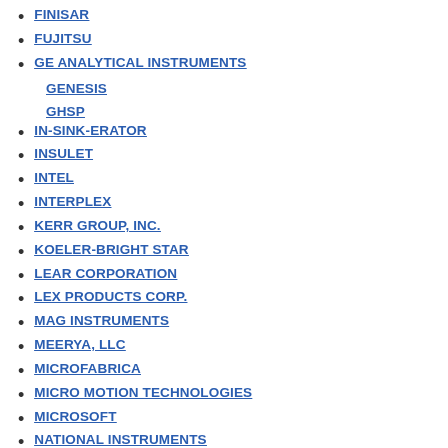FINISAR
FUJITSU
GE ANALYTICAL INSTRUMENTS
GENESIS
GHSP
IN-SINK-ERATOR
INSULET
INTEL
INTERPLEX
KERR GROUP, INC.
KOELER-BRIGHT STAR
LEAR CORPORATION
LEX PRODUCTS CORP.
MAG INSTRUMENTS
MEERYA, LLC
MICROFABRICA
MICRO MOTION TECHNOLOGIES
MICROSOFT
NATIONAL INSTRUMENTS
NEUROVISTA
NOKIA
NYTEC/MICROSOFT
OMAX